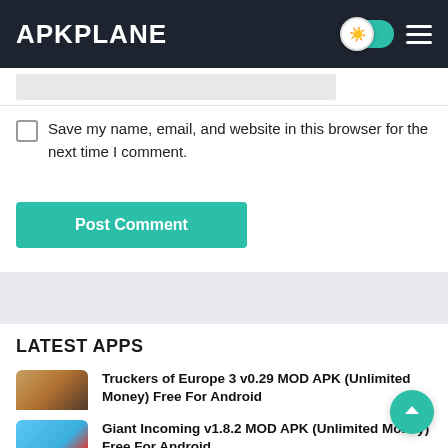APKPLANE
Save my name, email, and website in this browser for the next time I comment.
Post Comment
LATEST APPS
Truckers of Europe 3 v0.29 MOD APK (Unlimited Money) Free For Android
Wanda Software
★★★★★
Giant Incoming v1.8.2 MOD APK (Unlimited Money) Free For Android
Mount Sol...